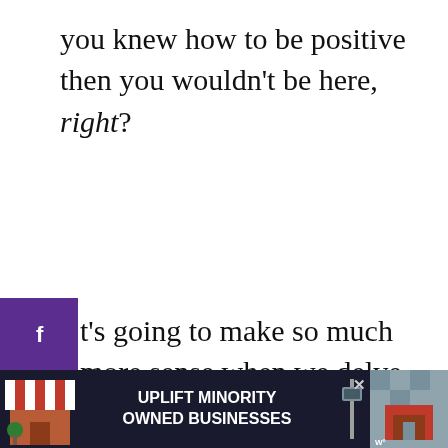you knew how to be positive then you wouldn't be here, right?
t's going to make so much more sense when we delve into the tips I have on manifesting positivity further in this post, but first I want you to understand that positivity is a choice.
[Figure (screenshot): Advertisement banner: UPLIFT MINORITY OWNED BUSINESSES with store illustrations]